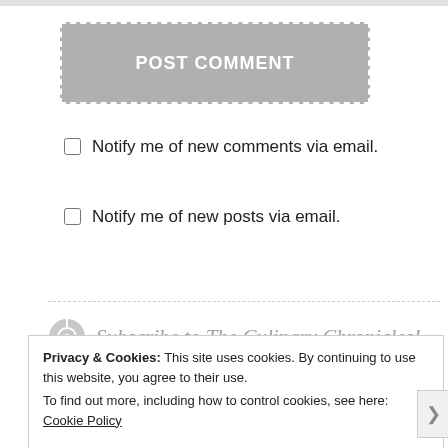[Figure (screenshot): POST COMMENT button with dashed white border on gray background]
Notify me of new comments via email.
Notify me of new posts via email.
Subscribe to The Culinary Chronicles!
Enter your email to subscribe and receive notifications of new
Privacy & Cookies: This site uses cookies. By continuing to use this website, you agree to their use.
To find out more, including how to control cookies, see here: Cookie Policy
Close and accept